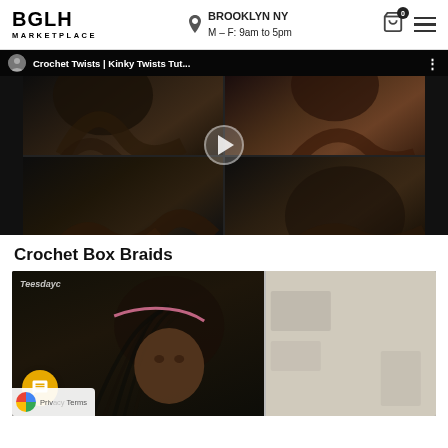BGLH MARKETPLACE — BROOKLYN NY M-F: 9am to 5pm
[Figure (screenshot): Embedded video thumbnail for 'Crochet Twists | Kinky Twists Tut...' showing a 4-panel grid of hairstyle images with a play button overlay, on a dark background]
Crochet Box Braids
[Figure (screenshot): Partial video thumbnail showing a person with box braids, with a 'Teesdayc' watermark label at the top left, and a lighter interior panel on the right side]